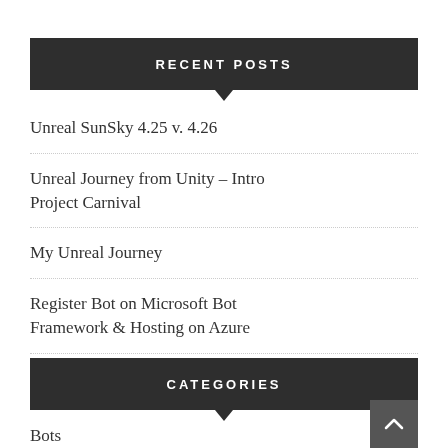RECENT POSTS
Unreal SunSky 4.25 v. 4.26
Unreal Journey from Unity – Intro Project Carnival
My Unreal Journey
Register Bot on Microsoft Bot Framework & Hosting on Azure
CATEGORIES
Bots